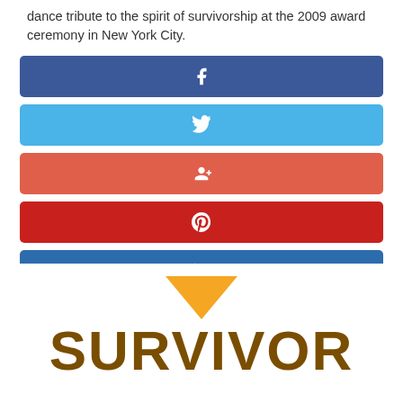dance tribute to the spirit of survivorship at the 2009 award ceremony in New York City.
[Figure (infographic): Social media share buttons: Facebook (dark blue), Twitter (light blue), Google+ (orange-red), Pinterest (dark red), LinkedIn (blue)]
[Figure (logo): Survivor logo with orange chevron/arrow pointing down above large bold brown text reading SURVIVOR]